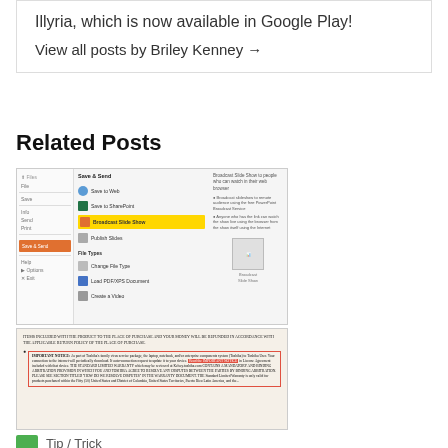Illyria, which is now available in Google Play!
View all posts by Briley Kenney →
Related Posts
[Figure (screenshot): Screenshot of PowerPoint 2010 Broadcast Slide Show interface showing menu options including Save to Web, Save to SharePoint, Broadcast Slide Show (highlighted in yellow), Publish Slides, File Types, Change File Type, and Load PDF/XPS Document.]
Tip / Trick
How to broadcast your PowerPoint 2010 (or later) presentation [Windows]
[Figure (screenshot): Screenshot of a warranty document with Important Notice section highlighted with red border, mentioning Toshiba and dispute resolution.]
Tip / Trick